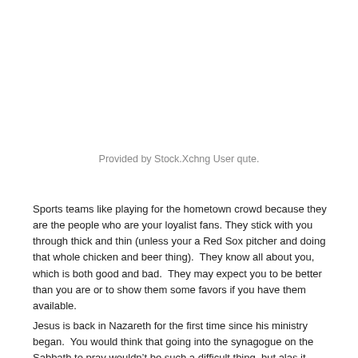Provided by Stock.Xchng User qute.
Sports teams like playing for the hometown crowd because they are the people who are your loyalist fans. They stick with you through thick and thin (unless your a Red Sox pitcher and doing that whole chicken and beer thing).  They know all about you, which is both good and bad.  They may expect you to be better than you are or to show them some favors if you have them available.
Jesus is back in Nazareth for the first time since his ministry began.  You would think that going into the synagogue on the Sabbath to pray wouldn’t be such a difficult thing, but alas it was.  Here’s my